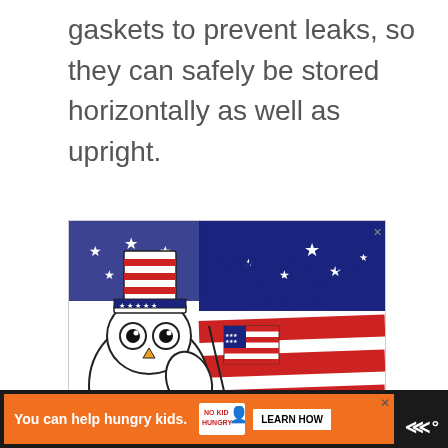gaskets to prevent leaks, so they can safely be stored horizontally as well as upright.
[Figure (illustration): Operation Gratitude advertisement featuring an owl wearing an Uncle Sam hat and holding a small American flag, with red and white stripes background and text 'SAY THANK YOU TO DEPLOYED TROOPS'. Operation Gratitude logo at bottom right.]
[Figure (illustration): Orange advertisement banner: 'You can help hungry kids.' with No Kid Hungry logo and 'LEARN HOW' button. Dark background bar with MSNBC logo.]